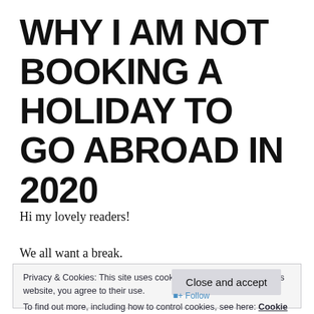WHY I AM NOT BOOKING A HOLIDAY TO GO ABROAD IN 2020
Hi my lovely readers!
We all want a break.
Privacy & Cookies: This site uses cookies. By continuing to use this website, you agree to their use.
To find out more, including how to control cookies, see here: Cookie Policy
Close and accept